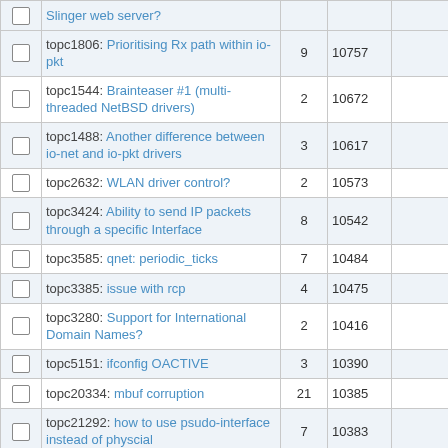|  | Topic | Replies | Views |  |
| --- | --- | --- | --- | --- |
|  | Slinger web server? |  |  |  |
|  | topc1806:  Prioritising Rx path within io-pkt | 9 | 10757 |  |
|  | topc1544:  Brainteaser #1 (multi-threaded NetBSD drivers) | 2 | 10672 |  |
|  | topc1488:  Another difference between io-net and io-pkt drivers | 3 | 10617 |  |
|  | topc2632:  WLAN driver control? | 2 | 10573 |  |
|  | topc3424:  Ability to send IP packets through a specific Interface | 8 | 10542 |  |
|  | topc3585:  qnet: periodic_ticks | 7 | 10484 |  |
|  | topc3385:  issue with rcp | 4 | 10475 |  |
|  | topc3280:  Support for International Domain Names? | 2 | 10416 |  |
|  | topc5151:  ifconfig OACTIVE | 3 | 10390 |  |
|  | topc20334:  mbuf corruption | 21 | 10385 |  |
|  | topc21292:  how to use psudo-interface instead of physcial | 7 | 10383 |  |